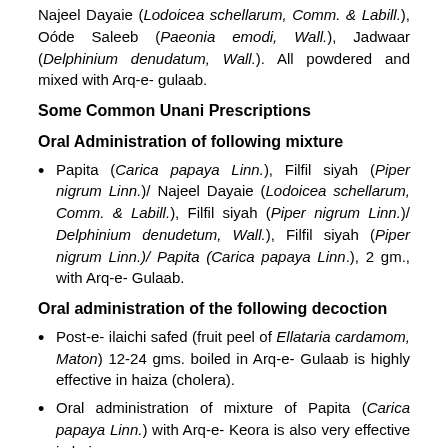Najeel Dayaie (Lodoicea schellarum, Comm. & Labill.), Oóde Saleeb (Paeonia emodi, Wall.), Jadwaar (Delphinium denudatum, Wall.). All powdered and mixed with Arq-e- gulaab.
Some Common Unani Prescriptions
Oral Administration of following mixture
Papita (Carica papaya Linn.), Filfil siyah (Piper nigrum Linn.)/ Najeel Dayaie (Lodoicea schellarum, Comm. & Labill.), Filfil siyah (Piper nigrum Linn.)/ Delphinium denudetum, Wall.), Filfil siyah (Piper nigrum Linn.)/ Papita (Carica papaya Linn.), 2 gm., with Arq-e- Gulaab.
Oral administration of the following decoction
Post-e- ilaichi safed (fruit peel of Ellataria cardamom, Maton) 12-24 gms. boiled in Arq-e- Gulaab is highly effective in haiza (cholera).
Oral administration of mixture of Papita (Carica papaya Linn.) with Arq-e- Keora is also very effective in haiza